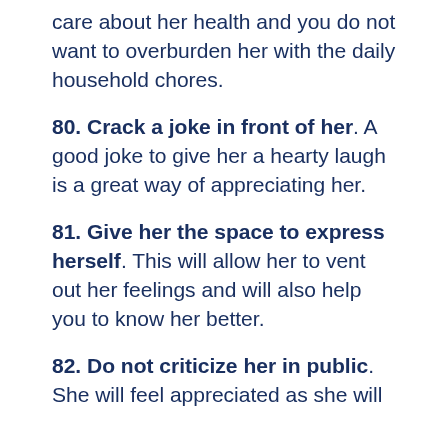care about her health and you do not want to overburden her with the daily household chores.
80. Crack a joke in front of her. A good joke to give her a hearty laugh is a great way of appreciating her.
81. Give her the space to express herself. This will allow her to vent out her feelings and will also help you to know her better.
82. Do not criticize her in public. She will feel appreciated as she will